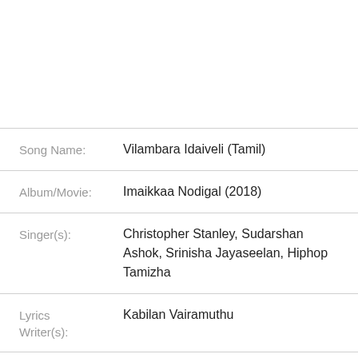| Field | Value |
| --- | --- |
| Song Name: | Vilambara Idaiveli (Tamil) |
| Album/Movie: | Imaikkaa Nodigal (2018) |
| Singer(s): | Christopher Stanley, Sudarshan Ashok, Srinisha Jayaseelan, Hiphop Tamizha |
| Lyrics Writer(s): | Kabilan Vairamuthu |
| Music Director(s): | Hiphop Tamizha |